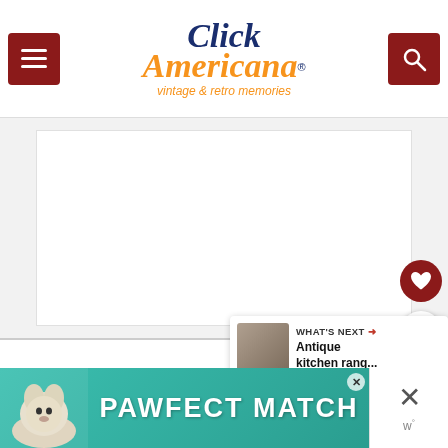Click Americana — vintage & retro memories
[Figure (photo): Large white/blank main image area placeholder]
[Figure (photo): What's Next thumbnail: Antique kitchen range]
WHAT'S NEXT → Antique kitchen rang...
Dodge Brothers Touring Car (1925)
[Figure (photo): PAWFECT MATCH advertisement banner with dog image]